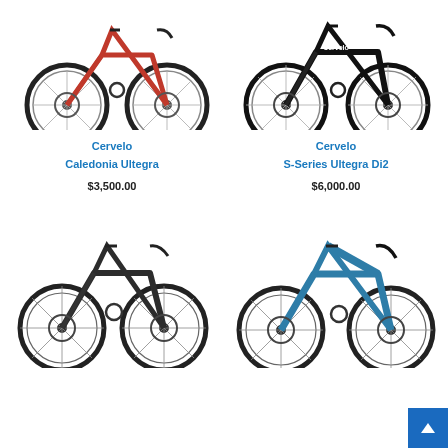[Figure (photo): Red Cervelo Caledonia Ultegra road bike, top portion cropped]
[Figure (photo): Black Cervelo S-Series Ultegra Di2 road bike, top portion cropped]
Cervelo
Caledonia Ultegra
$3,500.00
Cervelo
S-Series Ultegra Di2
$6,000.00
[Figure (photo): Dark/black Cervelo road bike, lower portion visible]
[Figure (photo): Blue Cervelo road bike, lower portion visible]